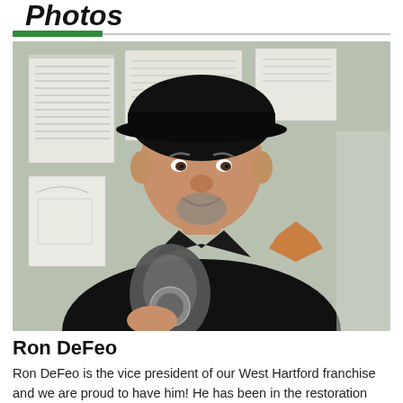Photos
[Figure (photo): Photo of Ron DeFeo, a middle-aged man wearing a black SERVPRO polo shirt and a black cap, holding an award or plaque, standing in front of a wall with papers pinned to it.]
Ron DeFeo
Ron DeFeo is the vice president of our West Hartford franchise and we are proud to have him! He has been in the restoration industry for over 17 years and has been a part of the SERVPRO of West Hartford franchise since its inception